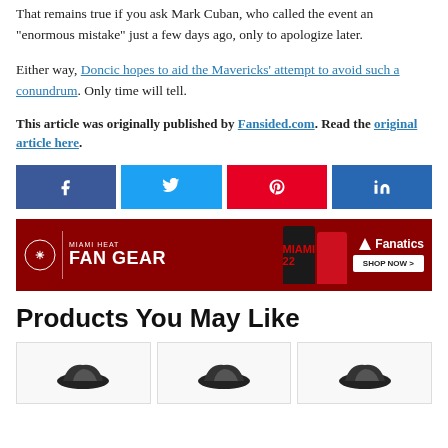That remains true if you ask Mark Cuban, who called the event an “enormous mistake” just a few days ago, only to apologize later.
Either way, Doncic hopes to aid the Mavericks’ attempt to avoid such a conundrum. Only time will tell.
This article was originally published by Fansided.com. Read the original article here.
[Figure (infographic): Social sharing buttons: Facebook (dark blue), Twitter (light blue), Pinterest (red), LinkedIn (dark blue)]
[Figure (infographic): Miami Heat Fan Gear advertisement banner with Fanatics branding and Shop Now button]
Products You May Like
[Figure (photo): Product image 1 - appears to be a dark shoe]
[Figure (photo): Product image 2 - appears to be a dark shoe]
[Figure (photo): Product image 3 - appears to be a dark shoe]